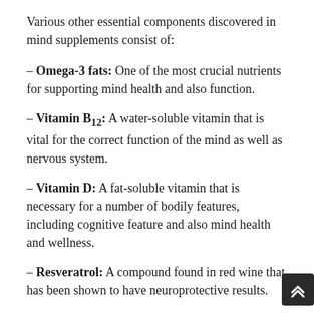Various other essential components discovered in mind supplements consist of:
– Omega-3 fats: One of the most crucial nutrients for supporting mind health and also function.
– Vitamin B12: A water-soluble vitamin that is vital for the correct function of the mind as well as nervous system.
– Vitamin D: A fat-soluble vitamin that is necessary for a number of bodily features, including cognitive feature and also mind health and wellness.
– Resveratrol: A compound found in red wine that has been shown to have neuroprotective results.
– Bacopa Manneri: A natural herb that has been made use of in standard medication for centuries